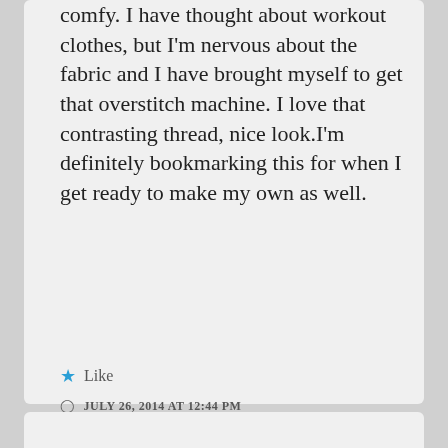comfy. I have thought about workout clothes, but I'm nervous about the fabric and I have brought myself to get that overstitch machine. I love that contrasting thread, nice look.I'm definitely bookmarking this for when I get ready to make my own as well.
★ Like
JULY 26, 2014 AT 12:44 PM
↳ REPLY